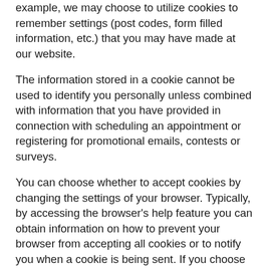example, we may choose to utilize cookies to remember settings (post codes, form filled information, etc.) that you may have made at our website.
The information stored in a cookie cannot be used to identify you personally unless combined with information that you have provided in connection with scheduling an appointment or registering for promotional emails, contests or surveys.
You can choose whether to accept cookies by changing the settings of your browser. Typically, by accessing the browser's help feature you can obtain information on how to prevent your browser from accepting all cookies or to notify you when a cookie is being sent. If you choose not to accept these cookies, your experience at our website and other websites may be diminished, and some features may not work as intended.
How does WestPest.com.au protect my personal data?
WestPest Pest Control uses reasonable precautions to keep the information disclosed to us secure. We have implemented security policies, rules and technical measures to protect your personal data from unauthorized access, improper use or